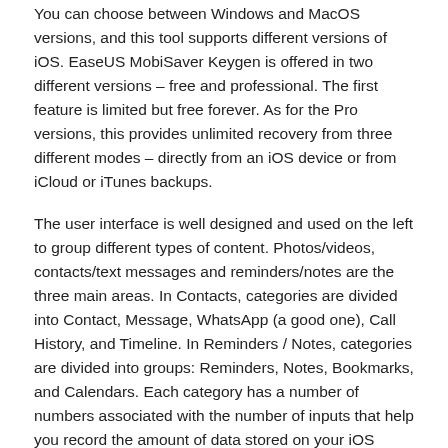You can choose between Windows and MacOS versions, and this tool supports different versions of iOS. EaseUS MobiSaver Keygen is offered in two different versions – free and professional. The first feature is limited but free forever. As for the Pro versions, this provides unlimited recovery from three different modes – directly from an iOS device or from iCloud or iTunes backups.
The user interface is well designed and used on the left to group different types of content. Photos/videos, contacts/text messages and reminders/notes are the three main areas. In Contacts, categories are divided into Contact, Message, WhatsApp (a good one), Call History, and Timeline. In Reminders / Notes, categories are divided into groups: Reminders, Notes, Bookmarks, and Calendars. Each category has a number of numbers associated with the number of inputs that help you record the amount of data stored on your iOS device.
Easeus Mobisaver Crack Patch Key Free Download